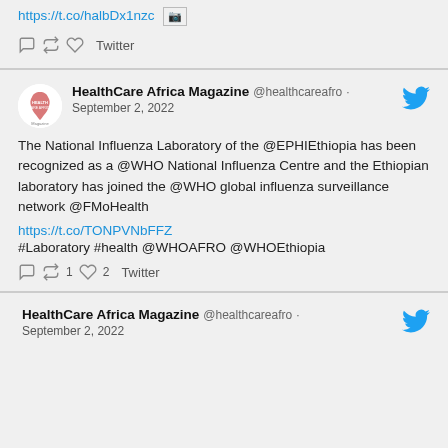https://t.co/halbDx1nzc
Twitter
HealthCare Africa Magazine @healthcareafro · September 2, 2022
The National Influenza Laboratory of the @EPHIEthiopia has been recognized as a @WHO National Influenza Centre and the Ethiopian laboratory has joined the @WHO global influenza surveillance network @FMoHealth
https://t.co/TONPVNbFFZ
#Laboratory #health @WHOAFRO @WHOEthiopia
1  2  Twitter
HealthCare Africa Magazine @healthcareafro · September 2, 2022